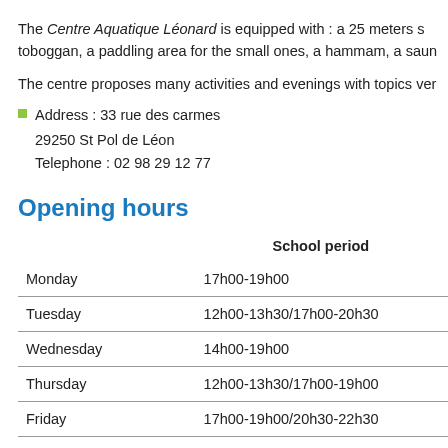The Centre Aquatique Léonard is equipped with : a 25 meters s toboggan, a paddling area for the small ones, a hammam, a saun
The centre proposes many activities and evenings with topics ver
Address : 33 rue des carmes
29250 St Pol de Léon
Telephone : 02 98 29 12 77
Opening hours
|  | School period |
| --- | --- |
| Monday | 17h00-19h00 |
| Tuesday | 12h00-13h30/17h00-20h30 |
| Wednesday | 14h00-19h00 |
| Thursday | 12h00-13h30/17h00-19h00 |
| Friday | 17h00-19h00/20h30-22h30 |
| Saturday | 14h30-18h30 |